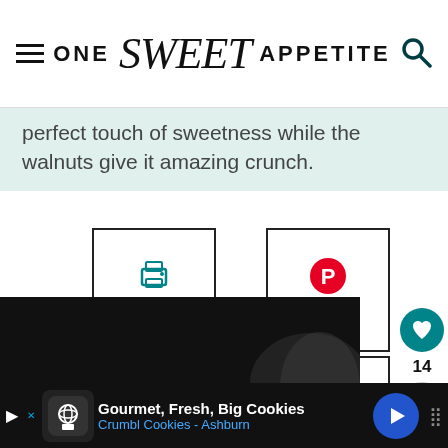ONE Sweet APPETITE
perfect touch of sweetness while the walnuts give it amazing crunch.
[Figure (screenshot): Four action buttons: Print, Pin, Share, Rate]
[Figure (screenshot): WHAT'S NEXT arrow with Homemade Buttermilk... thumbnail]
[Figure (photo): Dark background image partially visible]
[Figure (screenshot): Advertisement bar: Gourmet, Fresh, Big Cookies - Crumbl Cookies - Ashburn]